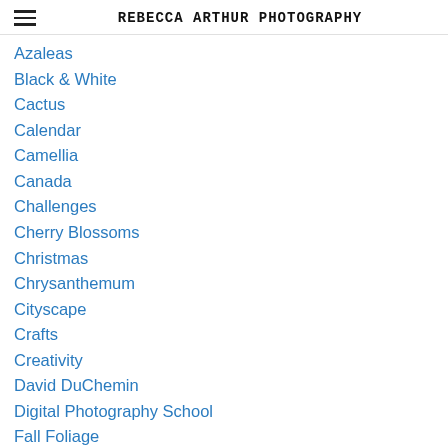REBECCA ARTHUR PHOTOGRAPHY
Azaleas
Black & White
Cactus
Calendar
Camellia
Canada
Challenges
Cherry Blossoms
Christmas
Chrysanthemum
Cityscape
Crafts
Creativity
David DuChemin
Digital Photography School
Fall Foliage
Figurine
Flowers